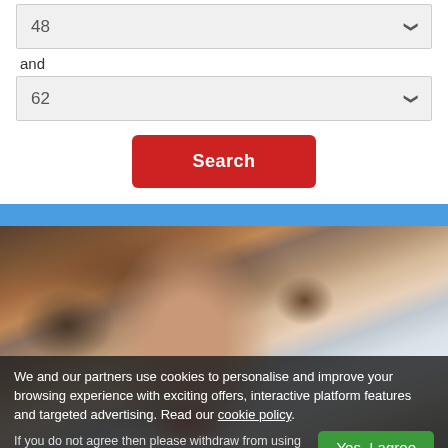48
and
62
Search
[Figure (photo): Smiling woman with brown hair outdoors, city buildings in background]
We and our partners use cookies to personalise and improve your browsing experience with exciting offers, interactive platform features and targeted advertising. Read our cookie policy.
If you do not agree then please withdraw from using this site.
Yes, I agree